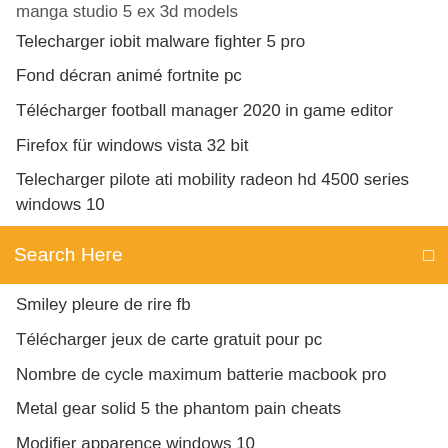manga studio 5 ex 3d models
Telecharger iobit malware fighter 5 pro
Fond décran animé fortnite pc
Télécharger football manager 2020 in game editor
Firefox für windows vista 32 bit
Telecharger pilote ati mobility radeon hd 4500 series windows 10
[Figure (screenshot): Orange search bar with text 'Search Here' and a search icon on the right]
Smiley pleure de rire fb
Télécharger jeux de carte gratuit pour pc
Nombre de cycle maximum batterie macbook pro
Metal gear solid 5 the phantom pain cheats
Modifier apparence windows 10
Mais ou est swampy 2 solution clef
Microsoft visual c 2020 x64 redistributable
Telecharger iobit advanced systemcare gratuit
Is facebook gameroom compatible with windows 10
Fond décran animé fortnite pc